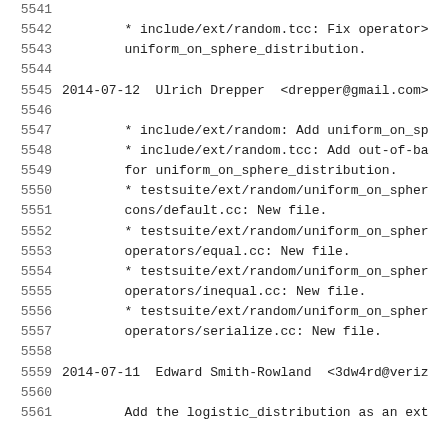5541-5561 code/changelog lines showing git log entries for include/ext/random.tcc, testsuite/ext/random/uniform_on_sphere, and logistic_distribution
* include/ext/random.tcc: Fix operator> uniform_on_sphere_distribution.
2014-07-12  Ulrich Drepper  <drepper@gmail.com>
* include/ext/random: Add uniform_on_sp
* include/ext/random.tcc: Add out-of-ba for uniform_on_sphere_distribution.
* testsuite/ext/random/uniform_on_spher cons/default.cc: New file.
* testsuite/ext/random/uniform_on_spher operators/equal.cc: New file.
* testsuite/ext/random/uniform_on_spher operators/inequal.cc: New file.
* testsuite/ext/random/uniform_on_spher operators/serialize.cc: New file.
2014-07-11  Edward Smith-Rowland  <3dw4rd@veriz
Add the logistic_distribution as an ext